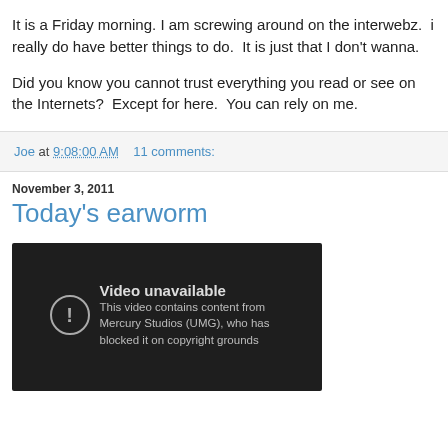It is a Friday morning. I am screwing around on the interwebz.  i really do have better things to do.  It is just that I don't wanna.

Did you know you cannot trust everything you read or see on the Internets?  Except for here.  You can rely on me.
Joe at 9:08:00 AM    11 comments:
November 3, 2011
Today's earworm
[Figure (screenshot): Video unavailable screen: dark background with warning icon circle containing exclamation mark, text 'Video unavailable' and 'This video contains content from Mercury Studios (UMG), who has blocked it on copyright grounds']